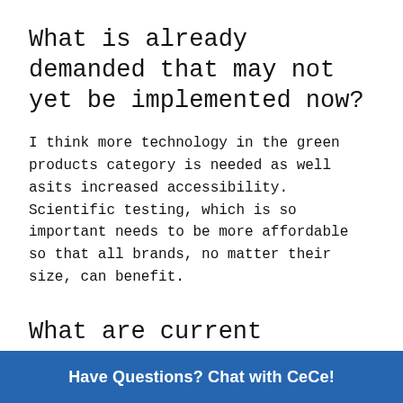What is already demanded that may not yet be implemented now?
I think more technology in the green products category is needed as well asits increased accessibility. Scientific testing, which is so important needs to be more affordable so that all brands, no matter their size, can benefit.
What are current research topics?
There has been a big push on the use of artificial intelligence to develop solutions for consumers, both in product development, speed to market, and in testing. Also, new te[chnologies and methods for handling ingredients] are being st[udied]